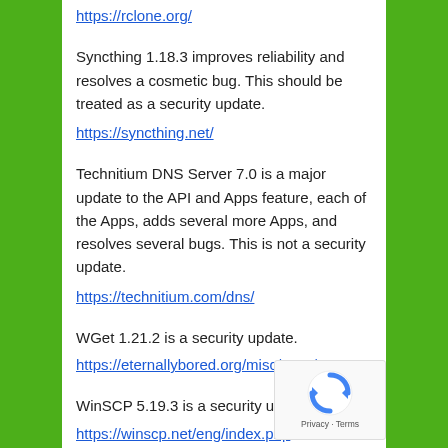https://rclone.org/
Syncthing 1.18.3 improves reliability and resolves a cosmetic bug. This should be treated as a security update.
https://syncthing.net/
Technitium DNS Server 7.0 is a major update to the API and Apps feature, each of the Apps, adds several more Apps, and resolves several bugs. This is not a security update.
https://technitium.com/dns/
WGet 1.21.2 is a security update.
https://eternallybored.org/misc/wget/
WinSCP 5.19.3 is a security update.
https://winscp.net/eng/index.php
Zoom 5.8.1.1435 is a security update.
https://zoom.us/
[Figure (logo): reCAPTCHA logo with Privacy and Terms text]